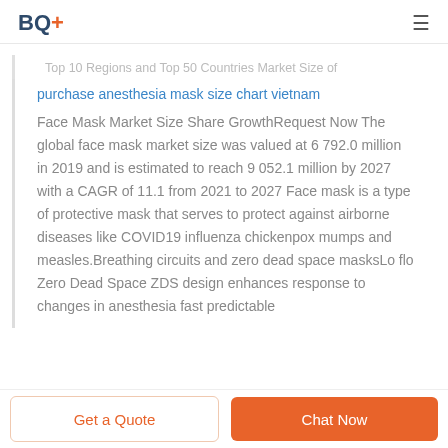BQ+
Top 10 Regions and Top 50 Countries Market Size of
purchase anesthesia mask size chart vietnam
Face Mask Market Size Share GrowthRequest Now The global face mask market size was valued at 6 792.0 million in 2019 and is estimated to reach 9 052.1 million by 2027 with a CAGR of 11.1 from 2021 to 2027 Face mask is a type of protective mask that serves to protect against airborne diseases like COVID19 influenza chickenpox mumps and measles.Breathing circuits and zero dead space masksLo flo Zero Dead Space ZDS design enhances response to changes in anesthesia fast predictable
Get a Quote | Chat Now